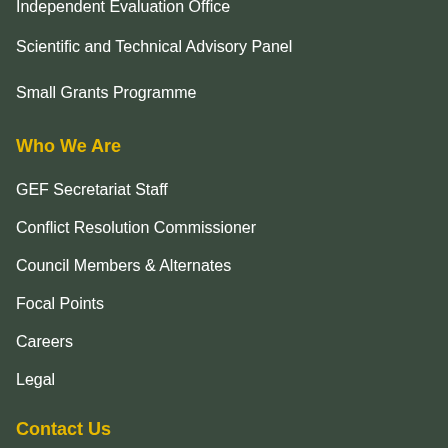Independent Evaluation Office
Scientific and Technical Advisory Panel
Small Grants Programme
Who We Are
GEF Secretariat Staff
Conflict Resolution Commissioner
Council Members & Alternates
Focal Points
Careers
Legal
Contact Us